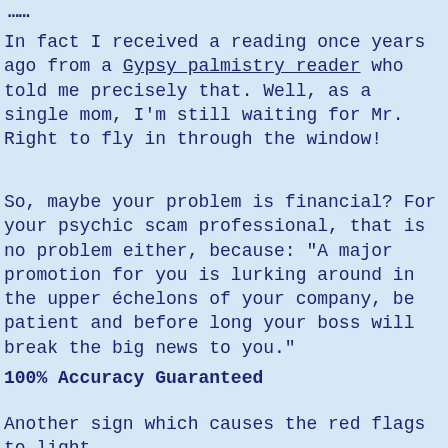...
In fact I received a reading once years ago from a Gypsy palmistry reader who told me precisely that. Well, as a single mom, I'm still waiting for Mr. Right to fly in through the window!
So, maybe your problem is financial? For your psychic scam professional, that is no problem either, because: "A major promotion for you is lurking around in the upper échelons of your company, be patient and before long your boss will break the big news to you."
100% Accuracy Guaranteed
Another sign which causes the red flags to light